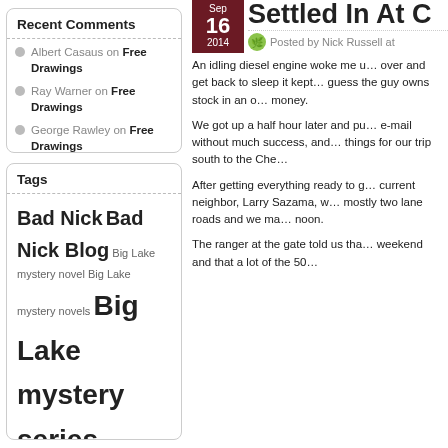Recent Comments
Albert Casaus on Free Drawings
Ray Warner on Free Drawings
George Rawley on Free Drawings
Liz on The First Of Many
norm on The Man From Ouray
Tags
Bad Nick Bad Nick Blog Big Lake mystery novel Big Lake mystery novels Big Lake mystery series Bus Conversion campground Civil War dry camping e-book publishing
Settled In At C
Sep 16 2014
Posted by Nick Russell at
An idling diesel engine woke me u... over and get back to sleep it kept... guess the guy owns stock in an o... money.
We got up a half hour later and pu... e-mail without much success, and... things for our trip south to the Che...
After getting everything ready to g... current neighbor, Larry Sazama, w... mostly two lane roads and we ma... noon.
The ranger at the gate told us tha... weekend and that a lot of the 50...